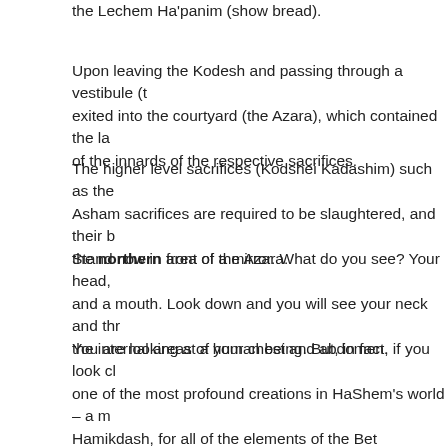the Lechem Ha'panim (show bread).
Upon leaving the Kodesh and passing through a vestibule (t exited into the courtyard (the Azara), which contained the la of the innards of the respective sacrifices.
The higher level sacrifices (Kodshei Kadashim) such as the Asham sacrifices are required to be slaughtered, and their b the northern area of the Azara.
Stand now in front of a mirror. What do you see? Your head, and a mouth. Look down and you will see your neck and thr the internal areas of your chest and abdomen.
You are looking at a human being. But, in fact, if you look cl one of the most profound creations in HaShem's world – a m Hamikdash, for all of the elements of the Bet Hamikdash are physical structure.
The uppermost part of your body, the head, contains two are sanctum – yourkodesh k'doshim, and an outer sanctum. You is and being designed to hidden the Architect in the